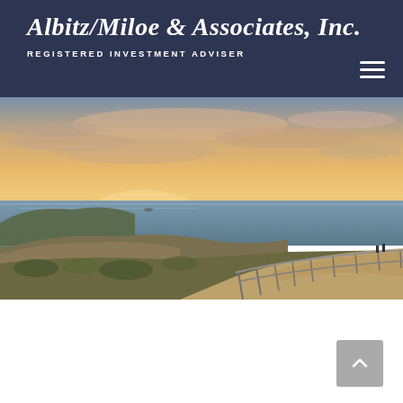Albitz/Miloe & Associates, Inc. — REGISTERED INVESTMENT ADVISER
[Figure (photo): Coastal landscape at sunset showing a cliff-top path with metal railing, overlooking the ocean with vibrant orange and pink sky]